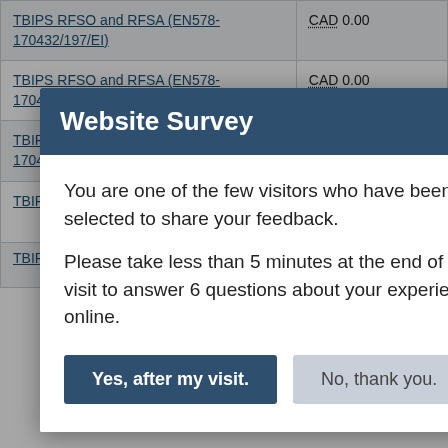| Contract/Standing Offer | Amount |
| --- | --- |
| TBIPS RFSO and RFSA (EN578-170432/197/EI) | CAD 0.00 |
| TBIPS RFSO and RFSA (EN578-170432/196/EI) | CAD 0.00 |
| TBIPS RFSO and RFSA (EN578-170432/195/EI) | CAD 0.00 |
| TBIPS RFSO and RFSA (EN578- | CAD 0.00 |
| TBIPS RFSO and RFSA (EN578- | CAD 0.00 |
Website Survey
You are one of the few visitors who have been selected to share your feedback.
Please take less than 5 minutes at the end of your visit to answer 6 questions about your experience online.
Yes, after my visit.
No, thank you.